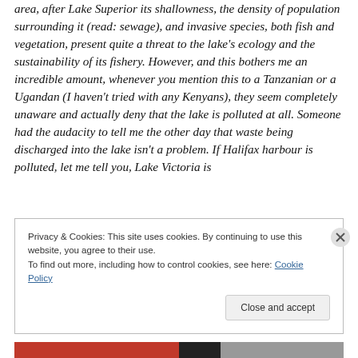area, after Lake Superior its shallowness, the density of population surrounding it (read: sewage), and invasive species, both fish and vegetation, present quite a threat to the lake's ecology and the sustainability of its fishery. However, and this bothers me an incredible amount, whenever you mention this to a Tanzanian or a Ugandan (I haven't tried with any Kenyans), they seem completely unaware and actually deny that the lake is polluted at all. Someone had the audacity to tell me the other day that waste being discharged into the lake isn't a problem. If Halifax harbour is polluted, let me tell you, Lake Victoria is
Privacy & Cookies: This site uses cookies. By continuing to use this website, you agree to their use.
To find out more, including how to control cookies, see here: Cookie Policy
Close and accept